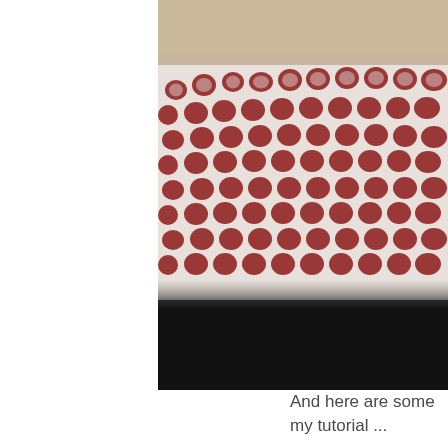[Figure (photo): Partial view of a bed/cushion covered in white fabric with a red polka dot (circle) pattern. The upper portion shows a beige/cream wall or headboard area. The lower portion is dark/black, likely shadow beneath the bed. The image is cropped and appears on the right side of the page.]
And here are some my tutorial ...